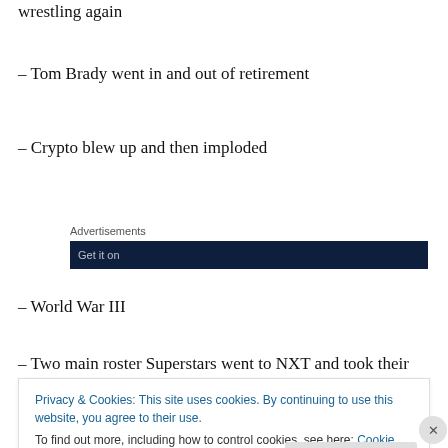wrestling again
– Tom Brady went in and out of retirement
– Crypto blew up and then imploded
Advertisements
– World War III
– Two main roster Superstars went to NXT and took their
Privacy & Cookies: This site uses cookies. By continuing to use this website, you agree to their use. To find out more, including how to control cookies, see here: Cookie Policy